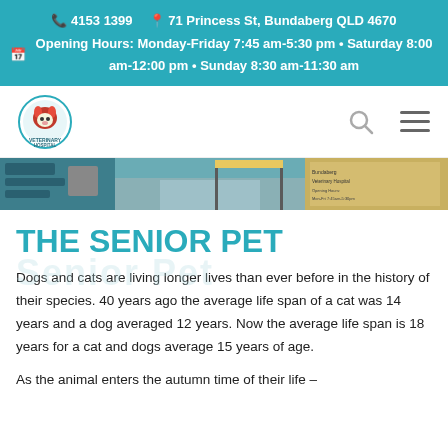📞 4153 1399   📍 71 Princess St, Bundaberg QLD 4670
🗓 Opening Hours: Monday-Friday 7:45 am-5:30 pm • Saturday 8:00 am-12:00 pm • Sunday 8:30 am-11:30 am
[Figure (logo): Bundaberg Veterinary Hospital circular logo with animal illustrations and text VETERINARY HOSPITAL]
[Figure (photo): Exterior photo of the veterinary hospital building with driveway and signage]
THE SENIOR PET
Dogs and cats are living longer lives than ever before in the history of their species. 40 years ago the average life span of a cat was 14 years and a dog averaged 12 years. Now the average life span is 18 years for a cat and dogs average 15 years of age.
As the animal enters the autumn time of their life –